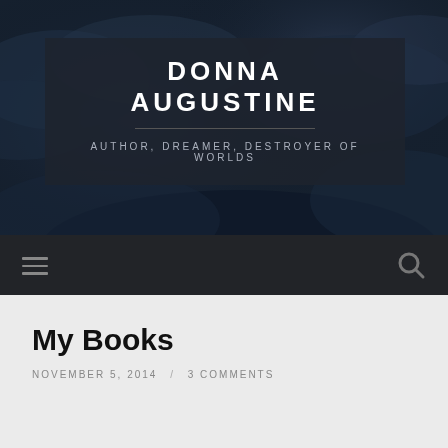[Figure (screenshot): Dark stormy cloudy sky background behind the site header]
DONNA AUGUSTINE
AUTHOR, DREAMER, DESTROYER OF WORLDS
Navigation bar with hamburger menu and search icon
My Books
NOVEMBER 5, 2014 / 3 COMMENTS